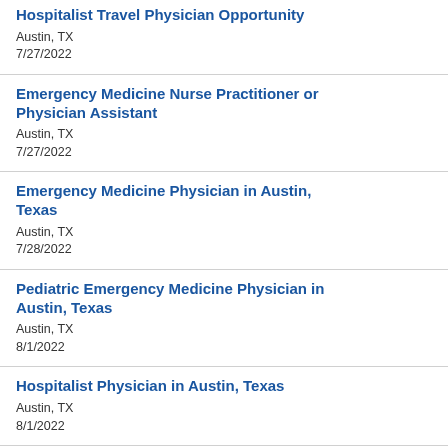Hospitalist Travel Physician Opportunity
Austin, TX
7/27/2022
Emergency Medicine Nurse Practitioner or Physician Assistant
Austin, TX
7/27/2022
Emergency Medicine Physician in Austin, Texas
Austin, TX
7/28/2022
Pediatric Emergency Medicine Physician in Austin, Texas
Austin, TX
8/1/2022
Hospitalist Physician in Austin, Texas
Austin, TX
8/1/2022
PRN Pediatric Emergency Medicine